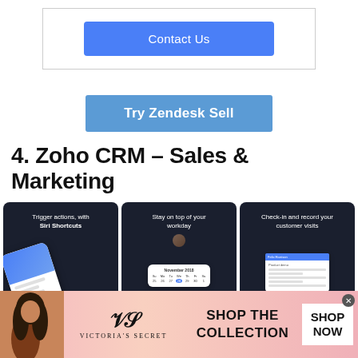[Figure (screenshot): Contact Us button in blue on white background]
[Figure (screenshot): Try Zendesk Sell call-to-action button in blue]
4. Zoho CRM – Sales & Marketing
[Figure (screenshot): Three Zoho CRM app screenshots on dark background showing: Trigger actions with Siri Shortcuts, Stay on top of your workday (November 2018 calendar), Check-in and record your customer visits]
[Figure (screenshot): Victoria's Secret advertisement banner: Shop The Collection, Shop Now]